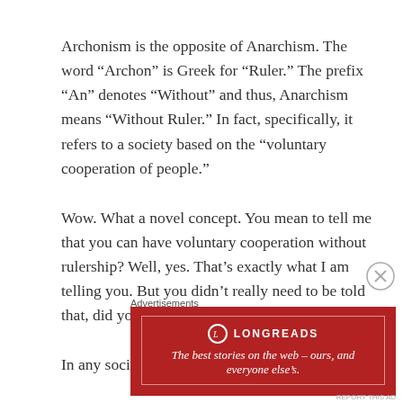Archonism is the opposite of Anarchism.  The word “Archon” is Greek for “Ruler.”  The prefix “An” denotes “Without” and thus, Anarchism means “Without Ruler.”  In fact, specifically, it refers to a society based on the “voluntary cooperation of people.”
Wow.  What a novel concept.  You mean to tell me that you can have voluntary cooperation without rulership?  Well, yes.  That’s exactly what I am telling you.  But you didn’t really need to be told that, did you?
In any society there must some form of
Advertisements
[Figure (other): Longreads advertisement banner: red background with white border, Longreads logo (circle with L), tagline: The best stories on the web – ours, and everyone else's.]